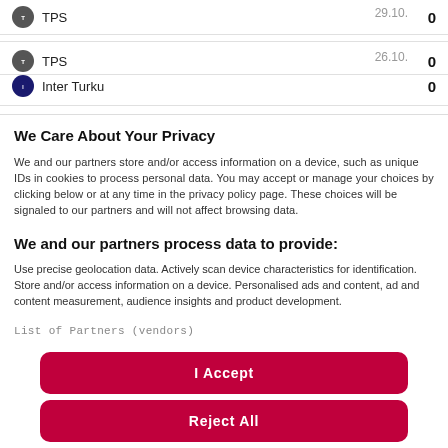TPS 0 (29.10.)
TPS 0 / Inter Turku 0 (26.10.)
We Care About Your Privacy
We and our partners store and/or access information on a device, such as unique IDs in cookies to process personal data. You may accept or manage your choices by clicking below or at any time in the privacy policy page. These choices will be signaled to our partners and will not affect browsing data.
We and our partners process data to provide:
Use precise geolocation data. Actively scan device characteristics for identification. Store and/or access information on a device. Personalised ads and content, ad and content measurement, audience insights and product development.
List of Partners (vendors)
I Accept
Reject All
Show Purposes